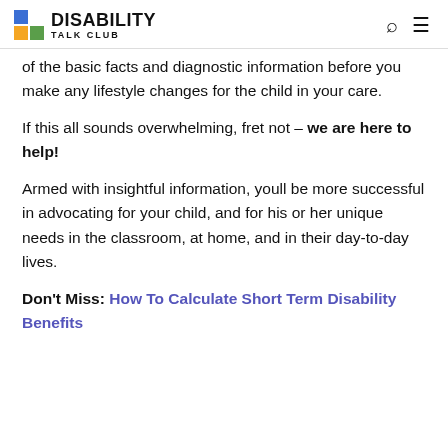DISABILITY TALK CLUB
of the basic facts and diagnostic information before you make any lifestyle changes for the child in your care.
If this all sounds overwhelming, fret not – we are here to help!
Armed with insightful information, youll be more successful in advocating for your child, and for his or her unique needs in the classroom, at home, and in their day-to-day lives.
Don't Miss: How To Calculate Short Term Disability Benefits